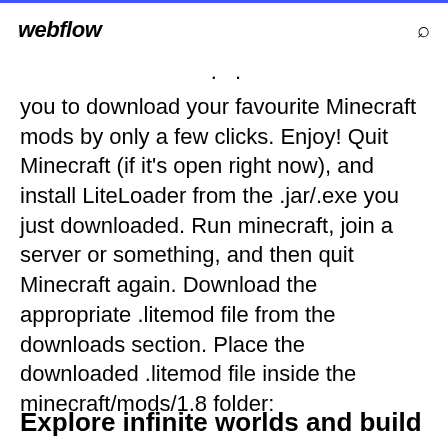webflow
you to download your favourite Minecraft mods by only a few clicks. Enjoy! Quit Minecraft (if it's open right now), and install LiteLoader from the .jar/.exe you just downloaded. Run minecraft, join a server or something, and then quit Minecraft again. Download the appropriate .litemod file from the downloads section. Place the downloaded .litemod file inside the minecraft/mods/1.8 folder:
Explore infinite worlds and build